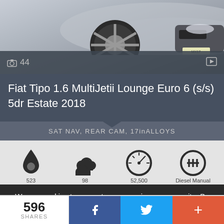[Figure (photo): Silver Fiat Tipo car front/side view showing wheel and front bumper, partial overhead angle]
📷 44
Fiat Tipo 1.6 MultiJetii Lounge Euro 6 (s/s) 5dr Estate 2018
SAT NAV, REAR CAM, 17inALLOYS
[Figure (infographic): Four icons: fuel drop, cloud (emissions), speedometer, gearbox. Values: 523, 98, 52,500, Diesel Manual]
We use cookies to support your experience on our site. By continuing to use our site you agree to our use of cookies. Find out more
£9,399 – £99 Admin Fee
596 SHARES
f
t (Twitter bird)
+